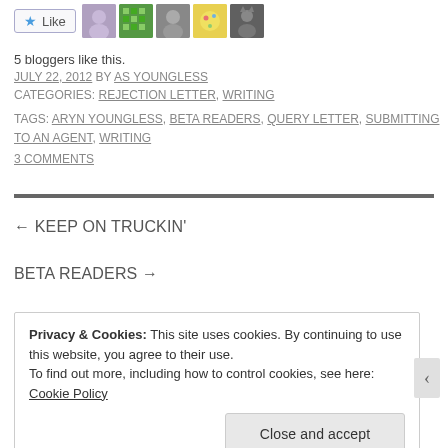[Figure (other): Like button with star icon and 5 blogger avatar thumbnails]
5 bloggers like this.
JULY 22, 2012 BY AS YOUNGLESS
CATEGORIES: REJECTION LETTER, WRITING
TAGS: ARYN YOUNGLESS, BETA READERS, QUERY LETTER, SUBMITTING TO AN AGENT, WRITING
3 COMMENTS
← KEEP ON TRUCKIN'
BETA READERS →
Privacy & Cookies: This site uses cookies. By continuing to use this website, you agree to their use.
To find out more, including how to control cookies, see here: Cookie Policy
Close and accept